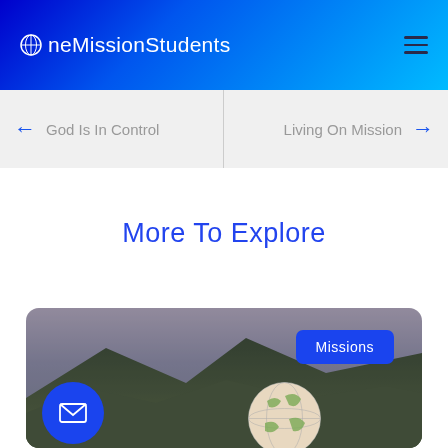OneMissionStudents
God Is In Control
Living On Mission
More To Explore
[Figure (photo): Landscape photo with mountains/hills in background and a globe in the foreground. Blue circular email button on the left and 'Missions' badge on the upper right of the card.]